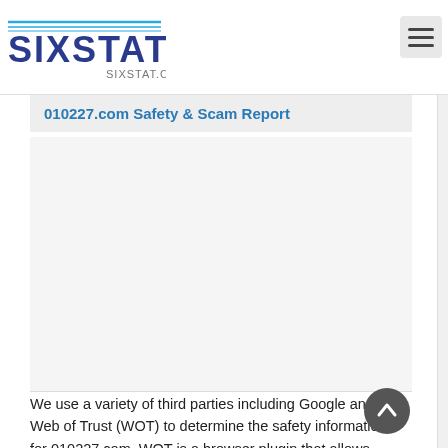[Figure (logo): SixStat.com logo with blue and gray text and decorative lines above, with SIXSTAT.COM text below]
010227.com Safety & Scam Report
[Figure (other): Advertisement placeholder area (blank gray box)]
We use a variety of third parties including Google and Web of Trust (WOT) to determine the safety information for 010227.com. WOT is a browser plugin that allows users around the world to rate domains for their safe browser, child safety and malware exploits if any. Google uses a proprietary method to determine the safeness of 010227.com. If you are concerned about the safety of a